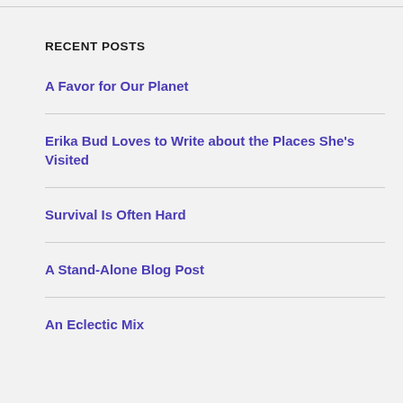RECENT POSTS
A Favor for Our Planet
Erika Bud Loves to Write about the Places She's Visited
Survival Is Often Hard
A Stand-Alone Blog Post
An Eclectic Mix